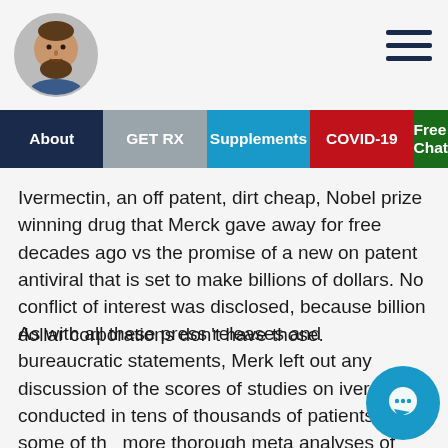[Figure (photo): Circular avatar photo of a bearded man]
[Figure (other): Hamburger menu icon (three horizontal lines)]
About | GET RX | Supplements | COVID-19 | Free Chat
Ivermectin, an off patent, dirt cheap, Nobel prize winning drug that Merck gave away for free decades ago vs the promise of a new on patent antiviral that is set to make billions of dollars. No conflict of interest was disclosed, because billion dollar corporations don't have those.
As with all these press releases and bureaucratic statements, Merk left out any discussion of the scores of studies on ivermectin conducted in tens of thousands of patients, or some of the more thorough meta analyses of those studies, which at least suggest, if not outright prove, that ivermectin has a beneficial effect in treating